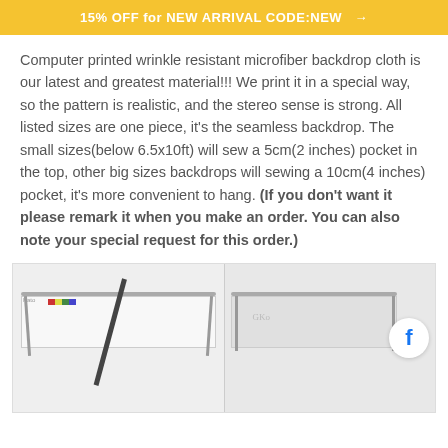15% OFF for NEW ARRIVAL CODE:NEW →
Computer printed wrinkle resistant microfiber backdrop cloth is our latest and greatest material!!! We print it in a special way, so the pattern is realistic, and the stereo sense is strong. All listed sizes are one piece, it's the seamless backdrop. The small sizes(below 6.5x10ft) will sew a 5cm(2 inches) pocket in the top, other big sizes backdrops will sewing a 10cm(4 inches) pocket, it's more convenient to hang. (If you don't want it please remark it when you make an order. You can also note your special request for this order.)
[Figure (photo): Two photos of backdrop stands with white fabric backdrops. Left photo shows a stand with a color calibration strip and a diagonal black bar. Right photo shows another stand setup with a white/silver backdrop. A circular Facebook icon button (blue 'f') is overlaid on the right side.]